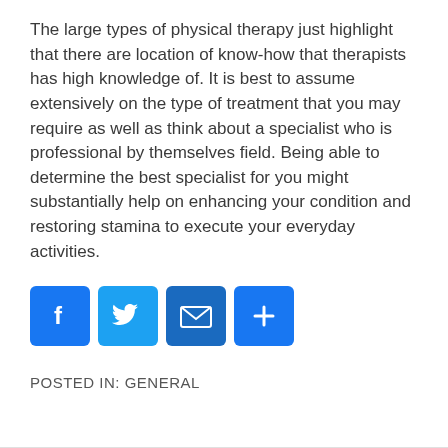The large types of physical therapy just highlight that there are location of know-how that therapists has high knowledge of. It is best to assume extensively on the type of treatment that you may require as well as think about a specialist who is professional by themselves field. Being able to determine the best specialist for you might substantially help on enhancing your condition and restoring stamina to execute your everyday activities.
[Figure (infographic): Four social sharing icon buttons: Facebook (blue with f), Twitter (blue with bird), Email (dark blue with envelope), More/Share (blue with plus sign)]
POSTED IN: GENERAL